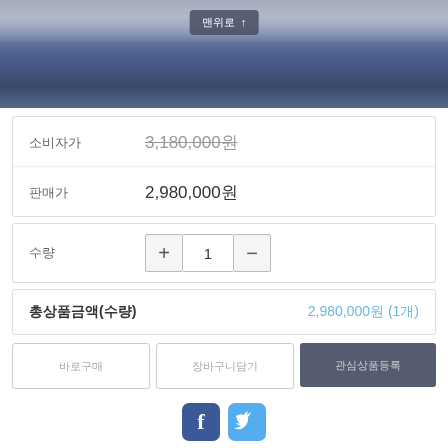[Figure (photo): Product photo of a blue electric guitar body on a stand, viewed from above/front, with a '맨위로↑' scroll-to-top button overlay]
| 소비자가 | 3,180,000원 |
| 판매가 | 2,980,000원 |
| 수량 | 1 |
| 총상품금액(수량) | 2,980,000원 (1개) |
바로구매 | 장바구니담기 | 관심상품등록
[Figure (logo): Facebook and Twitter social sharing icons]